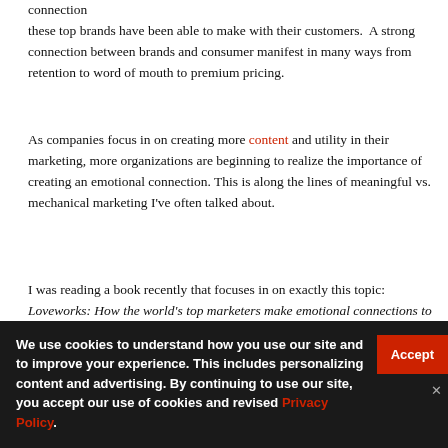connection these top brands have been able to make with their customers. A strong connection between brands and consumer manifest in many ways from retention to word of mouth to premium pricing.
As companies focus in on creating more content and utility in their marketing, more organizations are beginning to realize the importance of creating an emotional connection. This is along the lines of meaningful vs. mechanical marketing I've often talked about.
I was reading a book recently that focuses in on exactly this topic: Loveworks: How the world's top marketers make emotional connections to win in the marketplace by Brian Sheehan. Brian agreed to do a guest post answering a pretty important question in today's age of information overload: What makes a company loved?
We use cookies to understand how you use our site and to improve your experience. This includes personalizing content and advertising. By continuing to use our site, you accept our use of cookies and revised Privacy Policy.